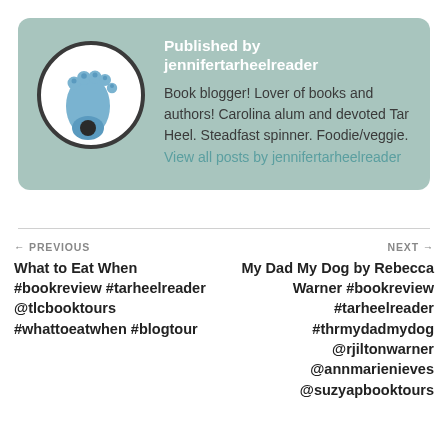[Figure (illustration): Circular avatar icon with a blue foot/footprint illustration on white background with dark grey border]
Published by jennifertarheelreader
Book blogger! Lover of books and authors! Carolina alum and devoted Tar Heel. Steadfast spinner. Foodie/veggie. View all posts by jennifertarheelreader
← PREVIOUS
What to Eat When #bookreview #tarheelreader @tlcbooktours #whattoeatwhen #blogtour
NEXT →
My Dad My Dog by Rebecca Warner #bookreview #tarheelreader #thrmydadmydog @rjiltonwarner @annmarienieves @suzyapbooktours